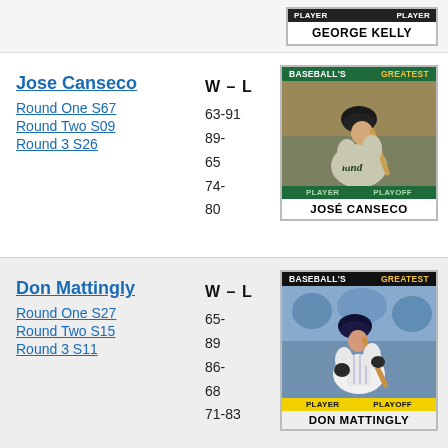[Figure (photo): Baseball card top strip showing George Kelly with PLAYER and PLAYOFF labels on a dark card]
GEORGE KELLY
[Figure (photo): Baseball card showing Jose Canseco in Oakland A's uniform batting, with BASEBALL'S GREATEST header in green, PLAYER and PLAYOFF labels]
Jose Canseco
Round One S67
Round Two S09
Round 3 S26
W – L
63-91
89-65
74-80
JOSÉ CANSECO
[Figure (photo): Baseball card showing Don Mattingly in Yankees uniform batting, with BASEBALL'S GREATEST header in black, PLAYER and PLAYOFF labels]
Don Mattingly
Round One S27
Round Two S15
Round 3 S11
W – L
65-89
86-68
71-83
DON MATTINGLY